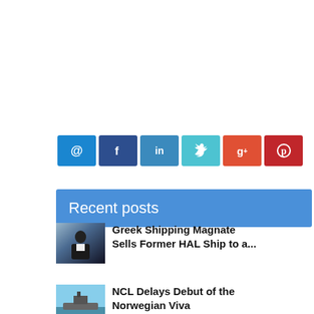[Figure (infographic): Row of six social sharing buttons: email (@), Facebook (f), LinkedIn (in), Twitter (bird), Google+ (g+), Pinterest (p)]
Recent posts
[Figure (photo): Thumbnail photo of a man in dark suit behind a desk, Sipping/shipping news background]
Greek Shipping Magnate Sells Former HAL Ship to a...
[Figure (photo): Thumbnail photo of a ship at sea under blue sky]
NCL Delays Debut of the Norwegian Viva